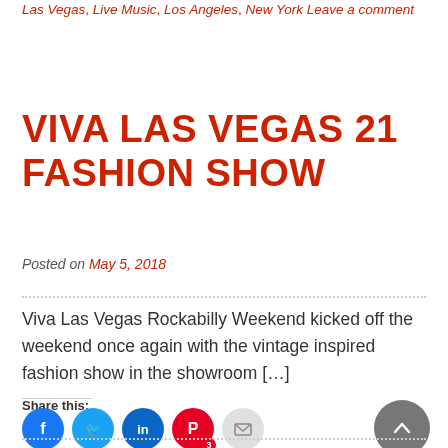Las Vegas, Live Music, Los Angeles, New York Leave a comment
VIVA LAS VEGAS 21 FASHION SHOW
Posted on May 5, 2018
Viva Las Vegas Rockabilly Weekend kicked off the weekend once again with the vintage inspired fashion show in the showroom […]
Share this:
[Figure (infographic): Social share icons: Facebook (blue), Twitter (light blue), LinkedIn (dark blue), Pinterest (red with badge 3), Email (light gray). Back-to-top arrow button (dark gray circle) at right.]